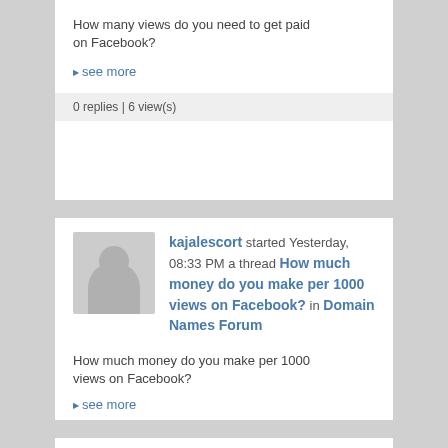How many views do you need to get paid on Facebook?
▶ see more
0 replies | 6 view(s)
kajalescort started Yesterday, 08:33 PM a thread How much money do you make per 1000 views on Facebook? in Domain Names Forum
How much money do you make per 1000 views on Facebook?
▶ see more
0 replies | 4 view(s)
kajalescort started Yesterday, 08:19 PM a thread How do you get paid for FB reels? in Domain Names Forum
How do you get paid for FB reels?
▶ see more
0 replies | 5 view(s)